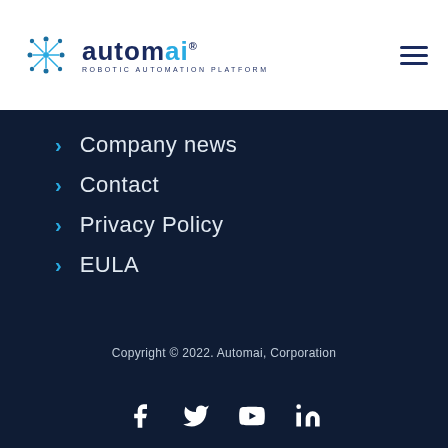[Figure (logo): Automai logo with snowflake-like icon and text 'automai® ROBOTIC AUTOMATION PLATFORM']
Company news
Contact
Privacy Policy
EULA
Copyright © 2022. Automai, Corporation